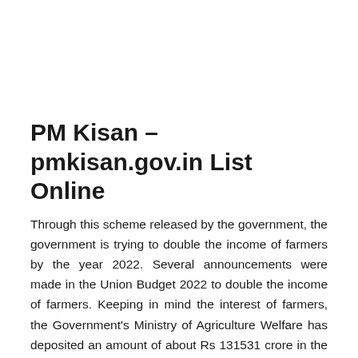PM Kisan – pmkisan.gov.in List Online
Through this scheme released by the government, the government is trying to double the income of farmers by the year 2022. Several announcements were made in the Union Budget 2022 to double the income of farmers. Keeping in mind the interest of farmers, the Government's Ministry of Agriculture Welfare has deposited an amount of about Rs 131531 crore in the budget session of 2022. This year's budget is about